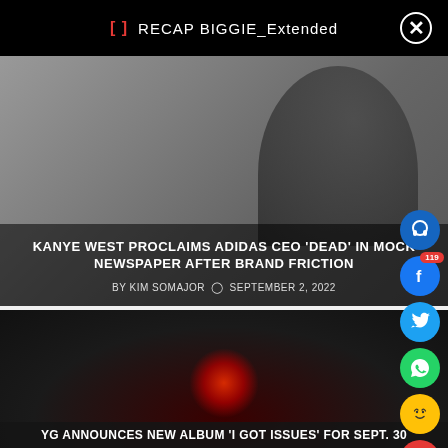[] RECAP BIGGIE_Extended
[Figure (photo): Article thumbnail showing a person in a dark hoodie against a grey background. Overlay text shows headline and byline.]
KANYE WEST PROCLAIMS ADIDAS CEO 'DEAD' IN MOCK NEWSPAPER AFTER BRAND FRICTION
BY KIM SOMAJOR  ⊙ SEPTEMBER 2, 2022
[Figure (photo): Article thumbnail showing a person with a glowing orange/red halo around their head against a dark background.]
YG ANNOUNCES NEW ALBUM 'I GOT ISSUES' FOR SEPT. 30